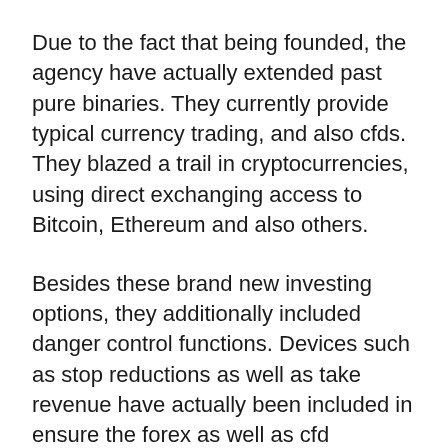Due to the fact that being founded, the agency have actually extended past pure binaries. They currently provide typical currency trading, and also cfds. They blazed a trail in cryptocurrencies, using direct exchanging access to Bitcoin, Ethereum and also others.
Besides these brand new investing options, they additionally included danger control functions. Devices such as stop reductions as well as take revenue have actually been included in ensure the forex as well as cfd investors possess all the sophisticated features they would certainly count on along with leveraged items.